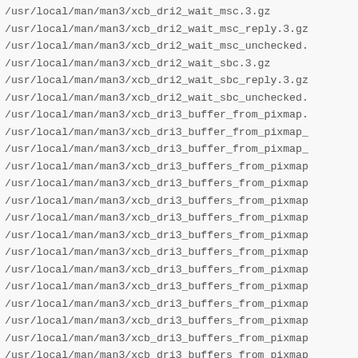/usr/local/man/man3/xcb_dri2_wait_msc.3.gz
/usr/local/man/man3/xcb_dri2_wait_msc_reply.3.gz
/usr/local/man/man3/xcb_dri2_wait_msc_unchecked.
/usr/local/man/man3/xcb_dri2_wait_sbc.3.gz
/usr/local/man/man3/xcb_dri2_wait_sbc_reply.3.gz
/usr/local/man/man3/xcb_dri2_wait_sbc_unchecked.
/usr/local/man/man3/xcb_dri3_buffer_from_pixmap.
/usr/local/man/man3/xcb_dri3_buffer_from_pixmap_
/usr/local/man/man3/xcb_dri3_buffer_from_pixmap_
/usr/local/man/man3/xcb_dri3_buffers_from_pixmap
/usr/local/man/man3/xcb_dri3_buffers_from_pixmap
/usr/local/man/man3/xcb_dri3_buffers_from_pixmap
/usr/local/man/man3/xcb_dri3_buffers_from_pixmap
/usr/local/man/man3/xcb_dri3_buffers_from_pixmap
/usr/local/man/man3/xcb_dri3_buffers_from_pixmap
/usr/local/man/man3/xcb_dri3_buffers_from_pixmap
/usr/local/man/man3/xcb_dri3_buffers_from_pixmap
/usr/local/man/man3/xcb_dri3_buffers_from_pixmap
/usr/local/man/man3/xcb_dri3_buffers_from_pixmap
/usr/local/man/man3/xcb_dri3_buffers_from_pixmap
/usr/local/man/man3/xcb_dri3_buffers_from_pixmap
/usr/local/man/man3/xcb_dri3_buffers_from_pixmap
/usr/local/man/man3/xcb_dri3_fd_from_fence.3.gz